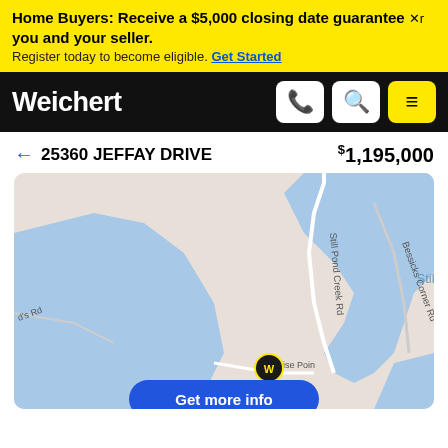Home Buyers: Receive a $5,000 closing date guarantee Xr you and your seller. Register today to become eligible. Get Started
Weichert
← 25360 JEFFAY DRIVE   $1,195,000
[Figure (map): Map showing Still Pond Creek area with roads: Still Pond Creek Rd, Bessicks Corner Rd, Paradise Point, Jeffay Drive. Blue water areas visible. Weichert property marker pin shown.]
Get more info